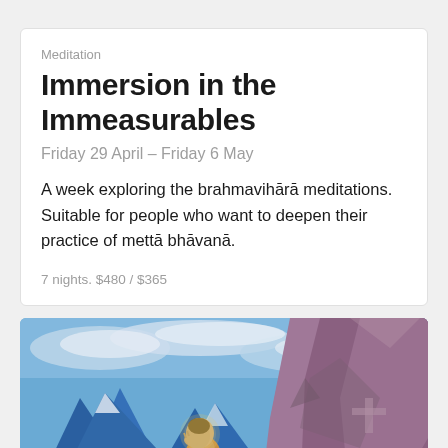Meditation
Immersion in the Immeasurables
Friday 29 April – Friday 6 May
A week exploring the brahmavihārā meditations. Suitable for people who want to deepen their practice of mettā bhāvanā.
7 nights. $480 / $365
[Figure (illustration): A painting depicting a meditating figure in golden robes seated among dramatic mountain scenery with blue peaks, white clouds, and large purple-pink rocky formations in a style reminiscent of Nicholas Roerich's Himalayan paintings.]